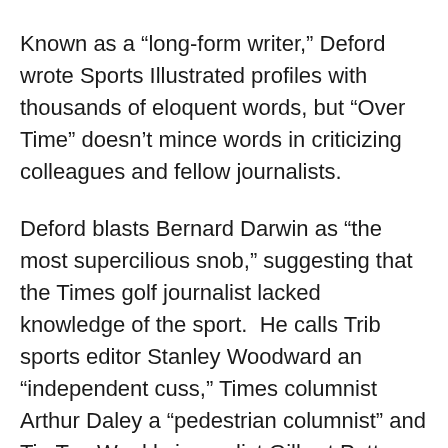Known as a “long-form writer,” Deford wrote Sports Illustrated profiles with thousands of eloquent words, but “Over Time” doesn’t mince words in criticizing colleagues and fellow journalists.
Deford blasts Bernard Darwin as “the most supercilious snob,” suggesting that the Times golf journalist lacked knowledge of the sport. He calls Trib sports editor Stanley Woodward an “independent cuss,” Times columnist Arthur Daley a “pedestrian columnist” and Tip Top Weekly journalist Gilbert Patten a “hack writer.” The Princeton alumnus with an affinity for purple even slams ESPN baseball analyst John Kruk for his on-air appearance.
Distinguishing types of editors into two categories: having a “natural curiosity for almost anything he doesn’t know” or wanting to “play only with his own toys, run stories about